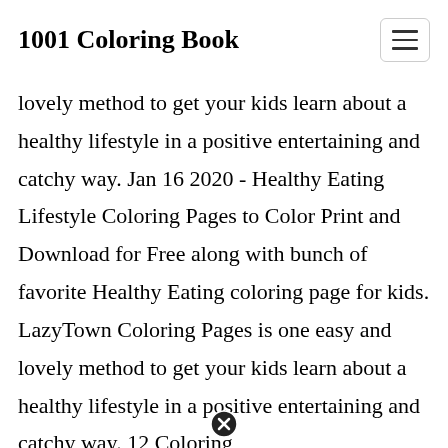1001 Coloring Book
lovely method to get your kids learn about a healthy lifestyle in a positive entertaining and catchy way. Jan 16 2020 - Healthy Eating Lifestyle Coloring Pages to Color Print and Download for Free along with bunch of favorite Healthy Eating coloring page for kids. LazyTown Coloring Pages is one easy and lovely method to get your kids learn about a healthy lifestyle in a positive entertaining and catchy way. 12 Coloring